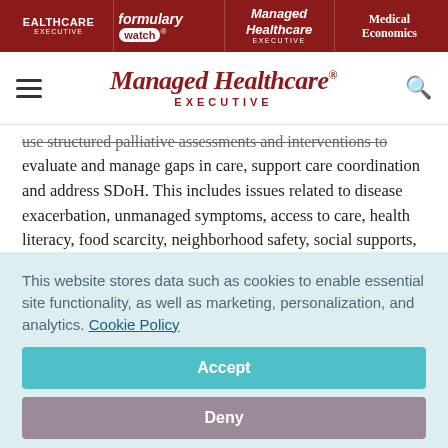HEALTHCARE EXECUTIVE | formulary watch | Managed Healthcare EXECUTIVE | Medical Economics
[Figure (logo): Managed Healthcare Executive logo with navigation bar including hamburger menu and search icon]
use structured palliative assessments and interventions to evaluate and manage gaps in care, support care coordination and address SDoH. This includes issues related to disease exacerbation, unmanaged symptoms, access to care, health literacy, food scarcity, neighborhood safety, social supports, and family/caregiver issues.
This website stores data such as cookies to enable essential site functionality, as well as marketing, personalization, and analytics. Cookie Policy
Accept
Deny